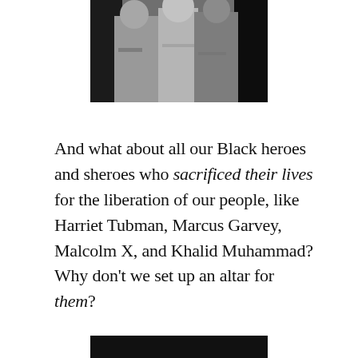[Figure (photo): Black and white photograph of a group of people, partially cropped, showing figures in various clothing including floral dresses and white shirts.]
And what about all our Black heroes and sheroes who sacrificed their lives for the liberation of our people, like Harriet Tubman, Marcus Garvey, Malcolm X, and Khalid Muhammad? Why don't we set up an altar for them?
[Figure (photo): Black and white photograph, bottom portion partially cropped.]